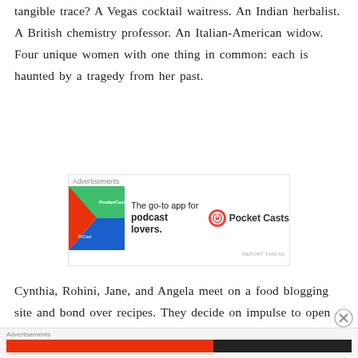tangible trace? A Vegas cocktail waitress. An Indian herbalist. A British chemistry professor. An Italian-American widow. Four unique women with one thing in common: each is haunted by a tragedy from her past.
[Figure (other): Pocket Casts advertisement banner: 'The go-to app for podcast lovers.' with Pocket Casts logo and colorful app icon graphic. Label 'Advertisements' at top. 'REPORT THIS AD' link at bottom right.]
Cynthia, Rohini, Jane, and Angela meet on a food blogging site and bond over recipes. They decide on impulse to open The Secret Spice, an elegant café on the magnificent ocean liner,
[Figure (other): Footer advertisement bar with 'Advertisements' label and a red/dark colored strip.]